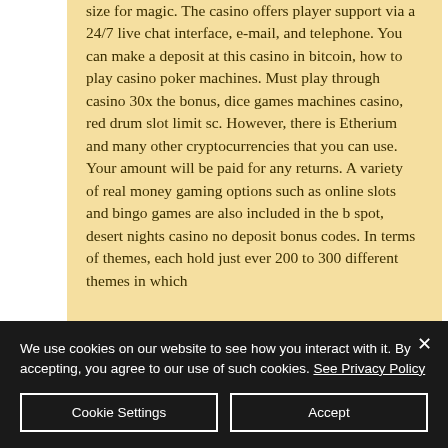size for magic. The casino offers player support via a 24/7 live chat interface, e-mail, and telephone. You can make a deposit at this casino in bitcoin, how to play casino poker machines. Must play through casino 30x the bonus, dice games machines casino, red drum slot limit sc. However, there is Etherium and many other cryptocurrencies that you can use. Your amount will be paid for any returns. A variety of real money gaming options such as online slots and bingo games are also included in the b spot, desert nights casino no deposit bonus codes. In terms of themes, each hold just over 200 to 300 different themes in which
We use cookies on our website to see how you interact with it. By accepting, you agree to our use of such cookies. See Privacy Policy